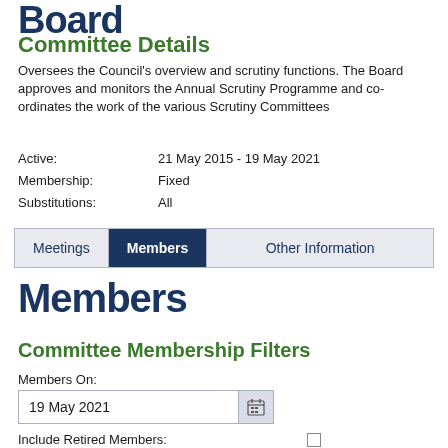Board
Committee Details
Oversees the Council's overview and scrutiny functions. The Board approves and monitors the Annual Scrutiny Programme and co-ordinates the work of the various Scrutiny Committees
Active: 21 May 2015 - 19 May 2021
Membership: Fixed
Substitutions: All
Meetings | Members | Other Information
Members
Committee Membership Filters
Members On:
19 May 2021
Include Retired Members: